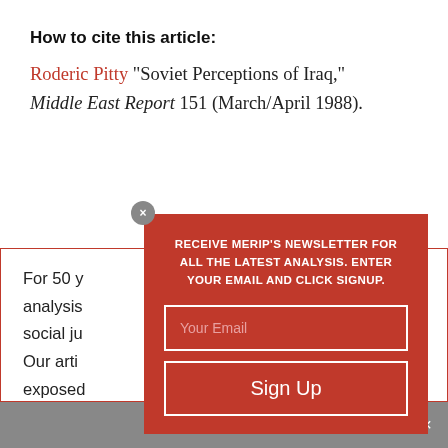How to cite this article:
Roderic Pitty "Soviet Perceptions of Iraq," Middle East Report 151 (March/April 1988).
For 50 y... analysis... and social ju... ations. Our arti... yths, exposed... flict, and hig... human rights. A... , our content... nyone, anywhe... ures
[Figure (other): Newsletter signup modal overlay on red background with email input field, Sign Up button, and close X button. Text reads: RECEIVE MERIP'S NEWSLETTER FOR ALL THE LATEST ANALYSIS. ENTER YOUR EMAIL AND CLICK SIGNUP.]
Share This